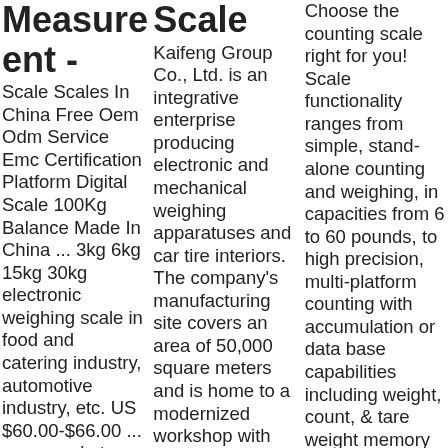Measurem ent - Scale Scales In China Free Oem Odm Service Emc Certification Platform Digital Scale 100Kg Balance Made In China ... 3kg 6kg 15kg 30kg electronic weighing scale in food and catering industry, automotive industry, etc. US $60.00-$66.00 ... supermarket weighing electronic
Scale Kaifeng Group Co., Ltd. is an integrative enterprise producing electronic and mechanical weighing apparatuses and car tire interiors. The company's manufacturing site covers an area of 50,000 square meters and is home to a modernized workshop with efficient test equipment and technology in a
Choose the counting scale right for you! Scale functionality ranges from simple, stand-alone counting and weighing, in capacities from 6 to 60 pounds, to high precision, multi-platform counting with accumulation or data base capabilities including weight, count, & tare weight memory for up to 1,000 items.Designed with